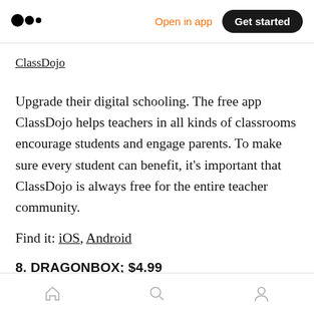Open in app | Get started
ClassDojo
Upgrade their digital schooling. The free app ClassDojo helps teachers in all kinds of classrooms encourage students and engage parents. To make sure every student can benefit, it's important that ClassDojo is always free for the entire teacher community.
Find it: iOS, Android
8. DRAGONBOX; $4.99
Home | Search | Profile